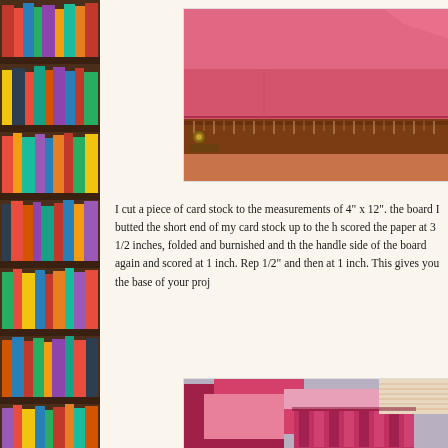[Figure (photo): Left side bookshelf with colorful books on dark wooden shelves]
[Figure (photo): Close-up photo of pink/red card stock paper on a scoring board with a ruler and handle visible]
I cut a piece of card stock to the measurements of 4" x 12". the board I butted the short end of my card stock up to the h scored the paper at 3 1/2 inches, folded and burnished and th the handle side of the board again and scored at 1 inch. Rep 1/2" and then at 1 inch. This gives you the base of your proj
[Figure (photo): Photo of pink and magenta folded card stock pieces arranged to show accordion-style project base construction]